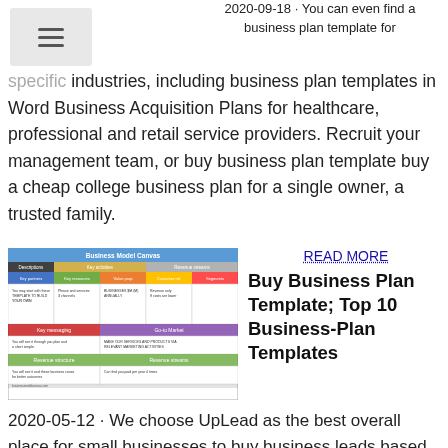[Figure (screenshot): Hamburger menu icon in a light gray box]
2020-09-18 · You can even find a business plan template for specific industries, including business plan templates in Word Business Acquisition Plans for healthcare, professional and retail service providers. Recruit your management team, or buy business plan template buy a cheap college business plan for a single owner, a trusted family.
[Figure (screenshot): Business Model Canvas table with colored sections showing key partners, key activities, value propositions, customer relationships, customer segments, key resources, channels, cost structure, and revenue streams]
READ MORE
Buy Business Plan Template; Top 10 Business-Plan Templates
2020-05-12 · We choose UpLead as the best overall place for small businesses to buy business leads based on its simple interface, robust search features, and affordable monthly subscription plan. In addition, UpLead offers the option of one-click export to your connected CRM, making it the best choice for businesses wanting a simple way to buy leads and add